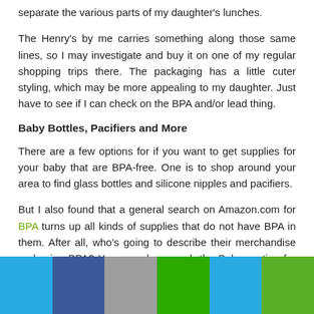separate the various parts of my daughter's lunches.
The Henry's by me carries something along those same lines, so I may investigate and buy it on one of my regular shopping trips there. The packaging has a little cuter styling, which may be more appealing to my daughter. Just have to see if I can check on the BPA and/or lead thing.
Baby Bottles, Pacifiers and More
There are a few options for if you want to get supplies for your baby that are BPA-free. One is to shop around your area to find glass bottles and silicone nipples and pacifiers.
But I also found that a general search on Amazon.com for BPA turns up all kinds of supplies that do not have BPA in them. After all, who's going to describe their merchandise as having BPA? You can also search the Baby section for terms such as silicone to get silicone nipples and pacifiers.
[Figure (other): Social sharing bar with six colored segments: light blue, dark blue, gray, green, light blue, green]